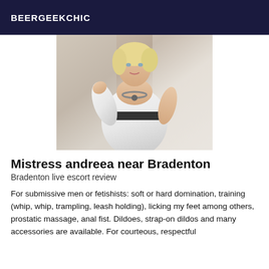BEERGEEKCHIC
[Figure (photo): A blonde woman in a white lace dress posing on stairs]
Mistress andreea near Bradenton
Bradenton live escort review
For submissive men or fetishists: soft or hard domination, training (whip, whip, trampling, leash holding), licking my feet among others, prostatic massage, anal fist. Dildoes, strap-on dildos and many accessories are available. For courteous, respectful